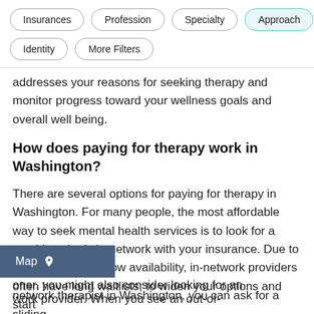Insurances
Profession
Specialty
Approach
Identity
More Filters
addresses your reasons for seeking therapy and monitor progress toward your wellness goals and overall well being.
How does paying for therapy work in Washington?
There are several options for paying for therapy in Washington. For many people, the most affordable way to seek mental health services is to look for a provider who is in-network with your insurance. Due to high demand and low availability, in-network providers often have long waitlists; to widen your options and start sooner, you might also consider looking for an out-of-network provider. When you see an out-of-network therapist in Washington, you can ask for a sliding
[Figure (other): Map button overlay with location pin icon]